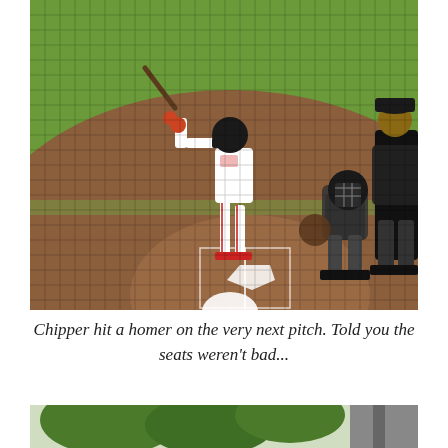[Figure (photo): Baseball game photo viewed through protective netting. A batter in white pinstripe uniform stands at home plate in batting stance. A catcher in dark gear crouches behind home plate, and an umpire in black stands to the right. The infield dirt and green grass outfield are visible in the background.]
Chipper hit a homer on the very next pitch. Told you the seats weren't bad...
[Figure (photo): Partial view of outdoor scene with green trees and a dark pole or tower structure visible on the right side.]